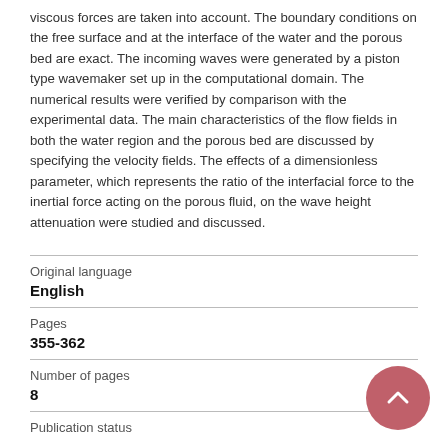viscous forces are taken into account. The boundary conditions on the free surface and at the interface of the water and the porous bed are exact. The incoming waves were generated by a piston type wavemaker set up in the computational domain. The numerical results were verified by comparison with the experimental data. The main characteristics of the flow fields in both the water region and the porous bed are discussed by specifying the velocity fields. The effects of a dimensionless parameter, which represents the ratio of the interfacial force to the inertial force acting on the porous fluid, on the wave height attenuation were studied and discussed.
| Field | Value |
| --- | --- |
| Original language | English |
| Pages | 355-362 |
| Number of pages | 8 |
| Publication status |  |